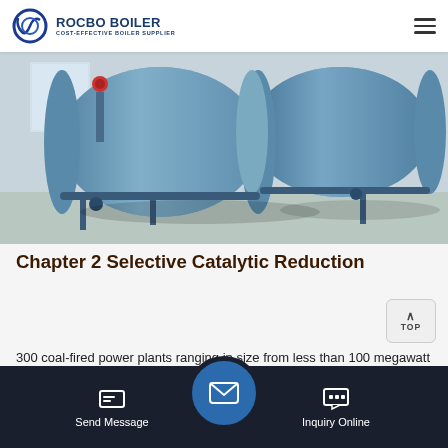ROCBO BOILER — COST-EFFECTIVE BOILER SUPPLIER
[Figure (photo): Industrial boiler equipment photo showing large blue cylindrical boilers in an industrial facility with piping and valves]
Chapter 2 Selective Catalytic Reduction
300 coal-fired power plants ranging in size from less than 100 megawatt equivalent (MWe) to 1,400 MWe [1, 4]. Other combustion sources with large numbers of SCR retrofits include more than 50 gas-fired utility boilers ranging in size from 147 MW...
Send Message | Inquiry Online